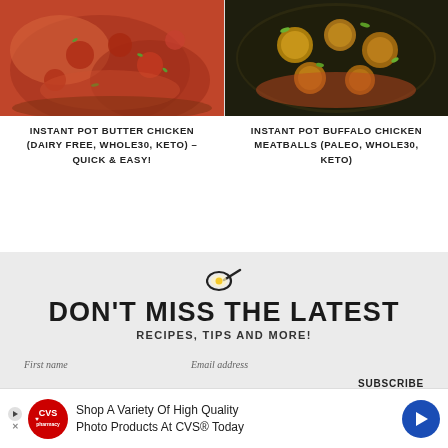[Figure (photo): Food photo of Instant Pot Butter Chicken in a pan with tomato sauce and green garnish]
INSTANT POT BUTTER CHICKEN (DAIRY FREE, WHOLE30, KETO) – QUICK & EASY!
[Figure (photo): Food photo of Instant Pot Buffalo Chicken Meatballs in a dark pan with sauce and green garnish]
INSTANT POT BUFFALO CHICKEN MEATBALLS (PALEO, WHOLE30, KETO)
[Figure (illustration): Frying pan icon]
DON'T MISS THE LATEST
RECIPES, TIPS AND MORE!
First name
Email address
SUBSCRIBE
[Figure (photo): CVS Pharmacy advertisement: Shop A Variety Of High Quality Photo Products At CVS® Today]